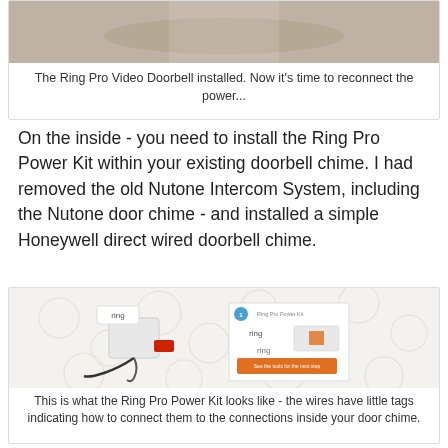[Figure (photo): Ring Pro Video Doorbell installed on exterior wall, partially visible at top of page]
The Ring Pro Video Doorbell installed. Now it's time to reconnect the power...
On the inside - you need to install the Ring Pro Power Kit within your existing doorbell chime. I had removed the old Nutone Intercom System, including the Nutone door chime - and installed a simple Honeywell direct wired doorbell chime.
[Figure (photo): Ring Pro Power Kit laid out on white fabric surface, showing the power kit module with wires and the Ring packaging/instruction booklet]
This is what the Ring Pro Power Kit looks like - the wires have little tags indicating how to connect them to the connections inside your door chime.
It was simple to remove the cover and install the Ring Pro